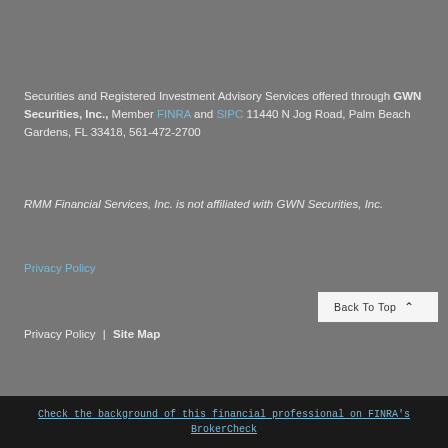Securities and Registered Investment Advisory Services offered through GWN Securities, Inc., Member FINRA and SIPC 11440 N Jog Road, Palm Beach Gardens, FL 33418, 561-472-2700
RMM Financial Services, Inc. is not affiliated with GWN Securities, Inc.
Privacy Policy
Privacy Policy | Site Map
Back To Top
Check the background of this financial professional on FINRA's BrokerCheck